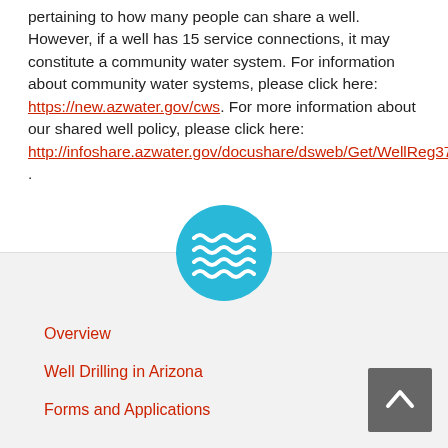pertaining to how many people can share a well. However, if a well has 15 service connections, it may constitute a community water system. For information about community water systems, please click here: https://new.azwater.gov/cws. For more information about our shared well policy, please click here: http://infoshare.azwater.gov/docushare/dsweb/Get/WellReg372014/Shared%20Well%20Policy.pdf .
[Figure (illustration): Cyan circular icon with white wavy water lines]
Overview
Well Drilling in Arizona
Forms and Applications